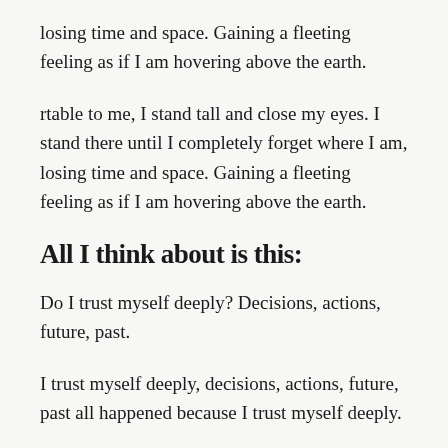losing time and space. Gaining a fleeting feeling as if I am hovering above the earth.
rtable to me, I stand tall and close my eyes. I stand there until I completely forget where I am, losing time and space. Gaining a fleeting feeling as if I am hovering above the earth.
All I think about is this:
Do I trust myself deeply? Decisions, actions, future, past.
I trust myself deeply, decisions, actions, future, past all happened because I trust myself deeply.